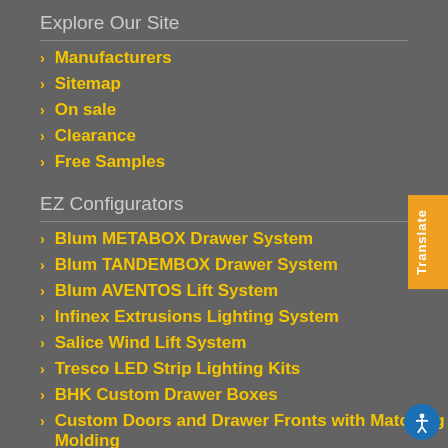Explore Our Site
Manufacturers
Sitemap
On sale
Clearance
Free Samples
EZ Configurators
Blum METABOX Drawer System
Blum TANDEMBOX Drawer System
Blum AVENTOS Lift System
Infinex Extrusions Lighting System
Salice Wind Lift System
Tresco LED Strip Lighting Kits
BHK Custom Drawer Boxes
Custom Doors and Drawer Fronts with Matching Molding
My Account